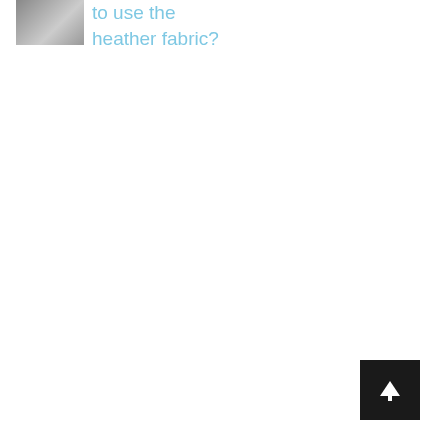[Figure (photo): Small thumbnail image, appears to be a grayscale/muted photo, possibly of furniture or fabric]
to use the heather fabric?
[Figure (other): Black square button with white upward arrow (back-to-top navigation button)]